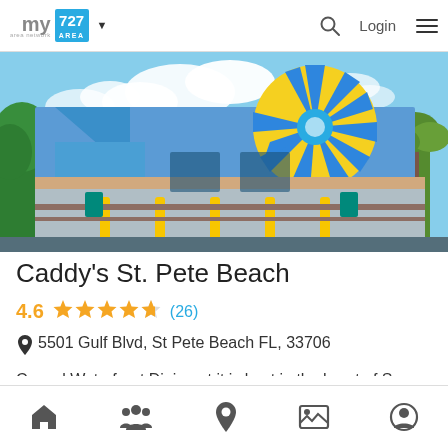my area network | 727 AREA | Login
[Figure (photo): Exterior photo of Caddy's St. Pete Beach restaurant, a colorful blue building with a large sunburst mural in blue and yellow on the upper facade, with yellow bollards along the front]
Caddy's St. Pete Beach
4.6 ★★★★★ (26)
📍 5501 Gulf Blvd, St Pete Beach FL, 33706
Casual Waterfront Dining at it is best in the heart of Sunny St. Pete Beach! Come to Caddy's for our mouth-watering menu, refreshing drinks all while
Home | People | Location | Gallery | Profile